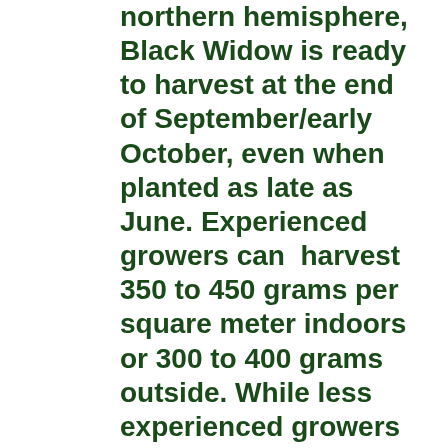northern hemisphere, Black Widow is ready to harvest at the end of September/early October, even when planted as late as June. Experienced growers can harvest 350 to 450 grams per square meter indoors or 300 to 400 grams outside. While less experienced growers may yield less volume, those who wait until the end of the cycle will have frosted buds, which make it more than worth the effort. Males of this strain are great